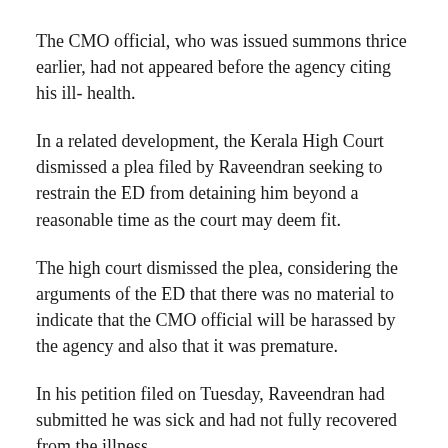The CMO official, who was issued summons thrice earlier, had not appeared before the agency citing his ill- health.
In a related development, the Kerala High Court dismissed a plea filed by Raveendran seeking to restrain the ED from detaining him beyond a reasonable time as the court may deem fit.
The high court dismissed the plea, considering the arguments of the ED that there was no material to indicate that the CMO official will be harassed by the agency and also that it was premature.
In his petition filed on Tuesday, Raveendran had submitted he was sick and had not fully recovered from the illness.
He had sought permission from the court to have the presence of a legal practitioner of his choice during his appearance before the ED.
Raveendran, in his petition, had alleged that the ED was